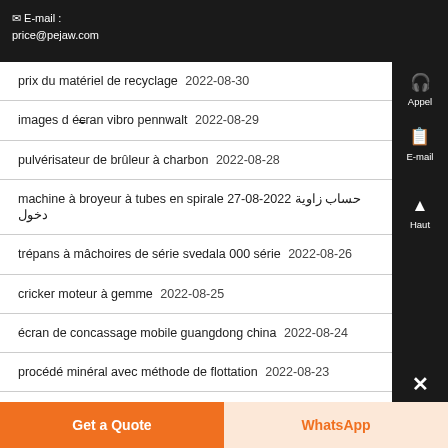E-mail : price@pejaw.com
prix du matériel de recyclage  2022-08-30
images d écran vibro pennwalt  2022-08-29
pulvérisateur de brûleur à charbon  2022-08-28
machine à broyeur à tubes en spirale 27-08-2022  حساب زاوية دخول
trépans à mâchoires de série svedala 000 série  2022-08-26
cricker moteur à gemme  2022-08-25
écran de concassage mobile guangdong china  2022-08-24
procédé minéral avec méthode de flottation  2022-08-23
Get a Quote   WhatsApp